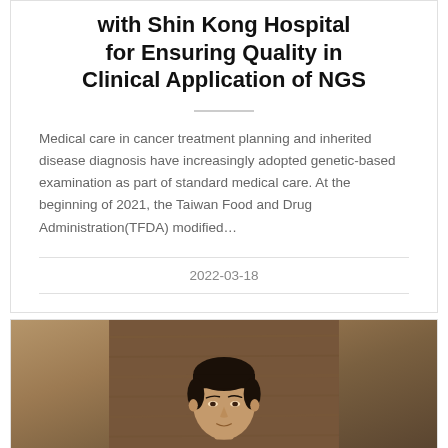with Shin Kong Hospital for Ensuring Quality in Clinical Application of NGS
Medical care in cancer treatment planning and inherited disease diagnosis have increasingly adopted genetic-based examination as part of standard medical care. At the beginning of 2021, the Taiwan Food and Drug Administration(TFDA) modified…
2022-03-18
[Figure (photo): Portrait photo of a person against a wooden background]